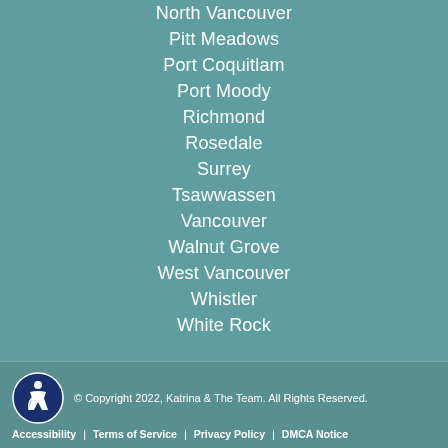North Vancouver
Pitt Meadows
Port Coquitlam
Port Moody
Richmond
Rosedale
Surrey
Tsawwassen
Vancouver
Walnut Grove
West Vancouver
Whistler
White Rock
© Copyright 2022, Katrina & The Team. All Rights Reserved. | Accessibility | Terms of Service | Privacy Policy | DMCA Notice